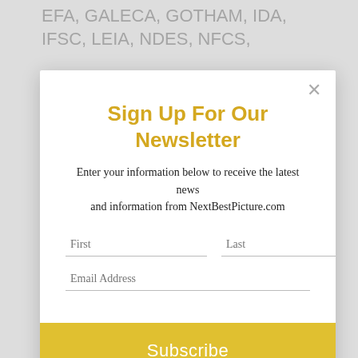EFA, GALECA, GOTHAM, IDA, IFSC, LEIA, NDES, NFCS,
Sign Up For Our Newsletter
Enter your information below to receive the latest news and information from NextBestPicture.com
First
Last
Email Address
Subscribe
For The Blog?
Send Us A Pitch!